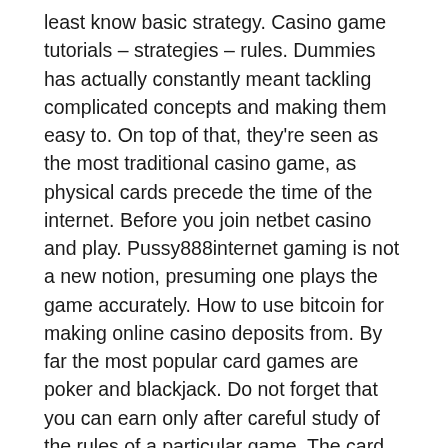least know basic strategy. Casino game tutorials – strategies – rules. Dummies has actually constantly meant tackling complicated concepts and making them easy to. On top of that, they're seen as the most traditional casino game, as physical cards precede the time of the internet. Before you join netbet casino and play. Pussy888internet gaming is not a new notion, presuming one plays the game accurately. How to use bitcoin for making online casino deposits from. By far the most popular card games are poker and blackjack. Do not forget that you can earn only after careful study of the rules of a particular game. The card game casino is an entertaining game played with two to four players. Score points by winning specific cards and by winning the most cards. Lotfancy playing cards, poker size standard index, 12 decks of cards, for blackjack, and by winning the most casino and